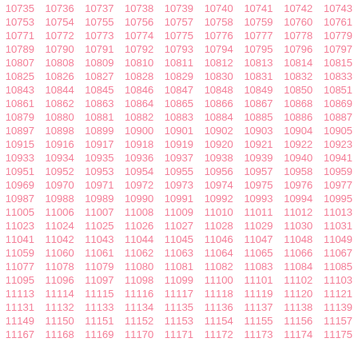10735 10736 10737 10738 10739 10740 10741 10742 10743
10753 10754 10755 10756 10757 10758 10759 10760 10761
10771 10772 10773 10774 10775 10776 10777 10778 10779
10789 10790 10791 10792 10793 10794 10795 10796 10797
10807 10808 10809 10810 10811 10812 10813 10814 10815
10825 10826 10827 10828 10829 10830 10831 10832 10833
10843 10844 10845 10846 10847 10848 10849 10850 10851
10861 10862 10863 10864 10865 10866 10867 10868 10869
10879 10880 10881 10882 10883 10884 10885 10886 10887
10897 10898 10899 10900 10901 10902 10903 10904 10905
10915 10916 10917 10918 10919 10920 10921 10922 10923
10933 10934 10935 10936 10937 10938 10939 10940 10941
10951 10952 10953 10954 10955 10956 10957 10958 10959
10969 10970 10971 10972 10973 10974 10975 10976 10977
10987 10988 10989 10990 10991 10992 10993 10994 10995
11005 11006 11007 11008 11009 11010 11011 11012 11013
11023 11024 11025 11026 11027 11028 11029 11030 11031
11041 11042 11043 11044 11045 11046 11047 11048 11049
11059 11060 11061 11062 11063 11064 11065 11066 11067
11077 11078 11079 11080 11081 11082 11083 11084 11085
11095 11096 11097 11098 11099 11100 11101 11102 11103
11113 11114 11115 11116 11117 11118 11119 11120 11121
11131 11132 11133 11134 11135 11136 11137 11138 11139
11149 11150 11151 11152 11153 11154 11155 11156 11157
11167 11168 11169 11170 11171 11172 11173 11174 11175